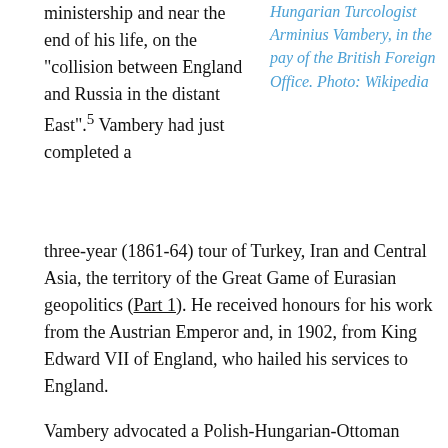ministership and near the end of his life, on the "collision between England and Russia in the distant East".⁵ Vambery had just completed a
Hungarian Turcologist Arminius Vambery, in the pay of the British Foreign Office. Photo: Wikipedia
three-year (1861-64) tour of Turkey, Iran and Central Asia, the territory of the Great Game of Eurasian geopolitics (Part 1). He received honours for his work from the Austrian Emperor and, in 1902, from King Edward VII of England, who hailed his services to England.
Vambery advocated a Polish-Hungarian-Ottoman alliance against Russia (Hungary being part of the Austro-Hungarian Empire, while Poland was divided between Austria and Russia). A subsumed scheme was that the entire multiethnic Ottoman Empire, including Arabs, Armenians, and various Slavic peoples, should consolidate around a Turkish chauvinist